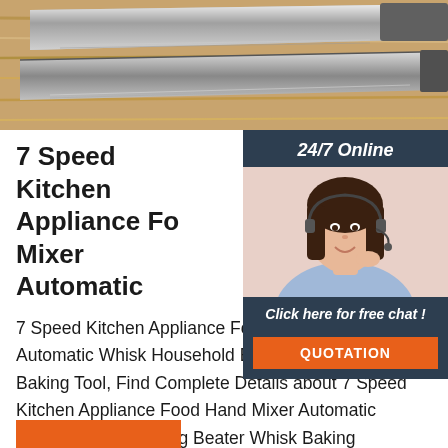[Figure (photo): Close-up photo of kitchen knives on a wooden surface, steel blades visible]
7 Speed Kitchen Appliance Food Mixer Automatic
[Figure (infographic): Sidebar widget with 24/7 Online chat, photo of a woman with headset, Click here for free chat, and QUOTATION button]
7 Speed Kitchen Appliance Food Hand Mixer Automatic Whisk Household Egg Beater Whisk Baking Tool, Find Complete Details about 7 Speed Kitchen Appliance Food Hand Mixer Automatic Whisk Household Egg Beater Whisk Baking Tool,Electronic Mixer,Mini Beater,Automatic Kitchen Appliance from Food Mixers Supplier or Manufacturer-Zhongshan Wingland Electrical Appliances Co., ...